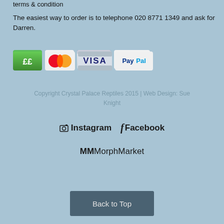terms & condition
The easiest way to order is to telephone 020 8771 1349 and ask for Darren.
[Figure (illustration): Payment method icons: GBP (££), Mastercard, Visa, PayPal]
Copyright Crystal Palace Reptiles 2015 | Web Design: Sue Knight
Instagram  Facebook
MMMorphMarket
Back to Top